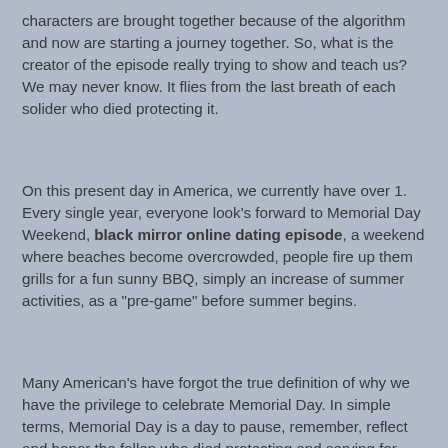characters are brought together because of the algorithm and now are starting a journey together. So, what is the creator of the episode really trying to show and teach us? We may never know. It flies from the last breath of each solider who died protecting it.
On this present day in America, we currently have over 1. Every single year, everyone look's forward to Memorial Day Weekend, black mirror online dating episode, a weekend where beaches become overcrowded, people fire up them grills for a fun sunny BBQ, simply an increase of summer activities, as a "pre-game" before summer begins.
Many American's have forgot the true definition of why we have the privilege to celebrate Memorial Day. In simple terms, Memorial Day is a day to pause, remember, reflect and honor the fallen who died protecting and serving for everything we are free to do today, black mirror online dating episode. Thank you for involving yourself, knowing that you